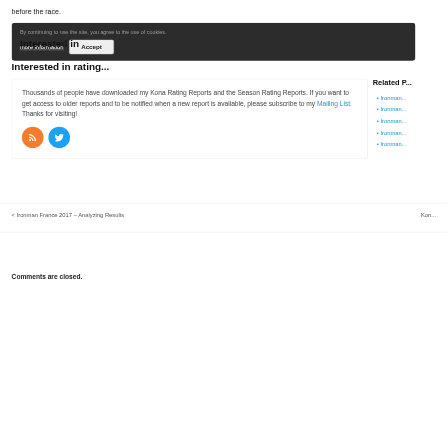before the race.
[Figure (screenshot): Cookie consent bar with dark background showing 'By continuing to use the site, you agree to the use of cookies.' with 'more information' link and 'Accept' button]
Interested in rating...
Thousands of people have downloaded my Kona Rating Reports and the Season Rating Reports. If you want to get access to older reports and to be notified when a new report is available, please subscribe to my Mailing List. Thanks for visiting!
Related P...
Ironman...
Ironman...
Ironman...
Ironman...
Ironman...
< Ironman France 2017 – Analyzing Results
Kon...
Comments are closed.